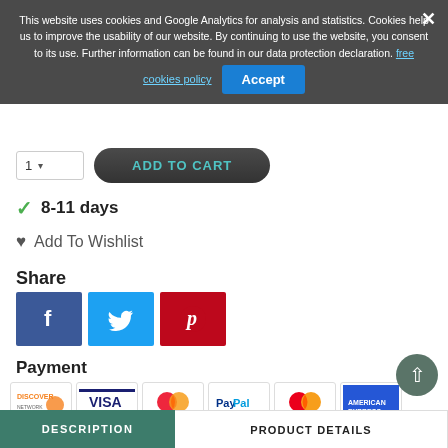[Figure (screenshot): Cookie consent banner overlay: dark semi-transparent background with text 'This website uses cookies and Google Analytics for analysis and statistics. Cookies help us to improve the usability of our website. By continuing to use the website, you consent to its use. Further information can be found in our data protection declaration.' with links and Accept button]
8-11 days
Add To Wishlist
Share
[Figure (infographic): Social share buttons: Facebook (blue), Twitter (light blue), Pinterest (red)]
Payment
[Figure (infographic): Payment method logos: Discover, Visa, Mastercard (stylized), PayPal, MasterCard, American Express]
DESCRIPTION
PRODUCT DETAILS